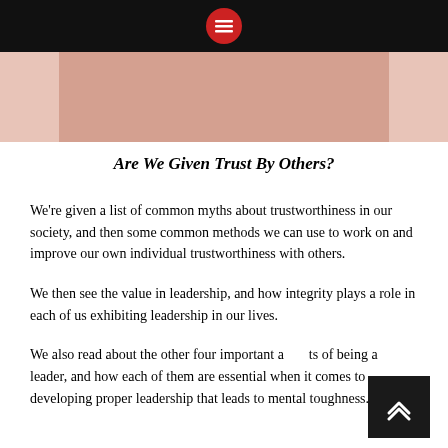[Figure (photo): Close-up photo strip of a person, cropped to show partial face/skin tones]
Are We Given Trust By Others?
We're given a list of common myths about trustworthiness in our society, and then some common methods we can use to work on and improve our own individual trustworthiness with others.
We then see the value in leadership, and how integrity plays a role in each of us exhibiting leadership in our lives.
We also read about the other four important aspects of being a leader, and how each of them are essential when it comes to developing proper leadership that leads to mental toughness.